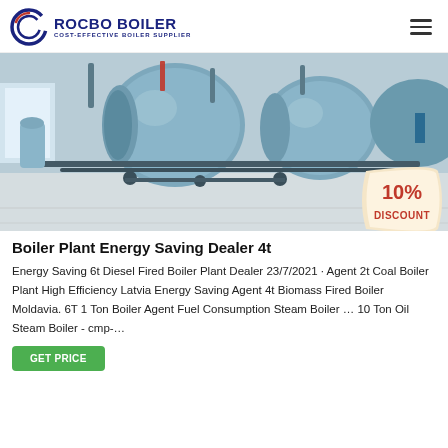ROCBO BOILER — COST-EFFECTIVE BOILER SUPPLIER
[Figure (photo): Industrial boiler plant interior showing large blue cylindrical boilers with pipes and fittings in a factory hall. A 10% DISCOUNT badge appears in the lower right corner.]
Boiler Plant Energy Saving Dealer 4t
Energy Saving 6t Diesel Fired Boiler Plant Dealer 23/7/2021 · Agent 2t Coal Boiler Plant High Efficiency Latvia Energy Saving Agent 4t Biomass Fired Boiler Moldavia. 6T 1 Ton Boiler Agent Fuel Consumption Steam Boiler … 10 Ton Oil Steam Boiler - cmp-…